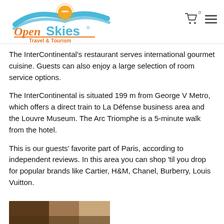[Figure (logo): Open Skies Travel & Tourism logo with blue wave, orange sun, and stylized text in orange/blue]
The InterContinental's restaurant serves international gourmet cuisine. Guests can also enjoy a large selection of room service options.
The InterContinental is situated 199 m from George V Metro, which offers a direct train to La Défense business area and the Louvre Museum. The Arc Triomphe is a 5-minute walk from the hotel.
This is our guests' favorite part of Paris, according to independent reviews. In this area you can shop 'til you drop for popular brands like Cartier, H&M, Chanel, Burberry, Louis Vuitton.
[Figure (photo): Partial photo visible at bottom of page, appears to be hotel interior]